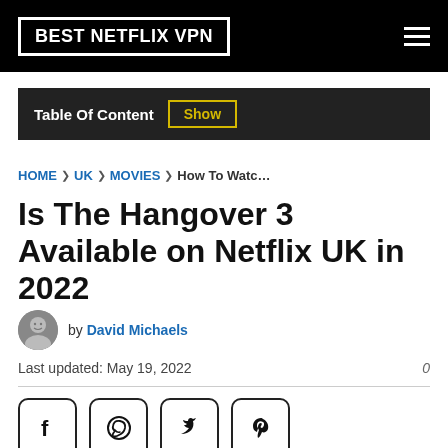BEST NETFLIX VPN
Table Of Content  Show
HOME › UK › MOVIES › How To Watc…
Is The Hangover 3 Available on Netflix UK in 2022
by David Michaels
Last updated: May 19, 2022   0
[Figure (infographic): Row of four social share icons: Facebook, WhatsApp, Twitter, Pinterest]
Unfortunately, The Hangover 3 is not available on Netflix UK. However, you can unblock the movi…